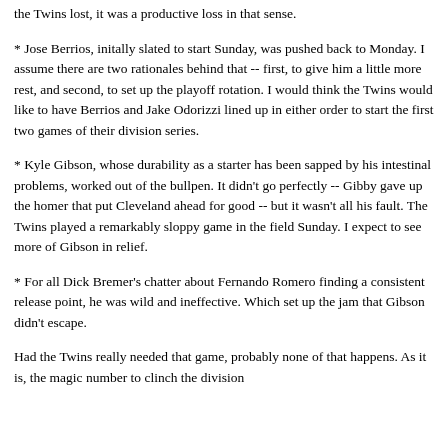the Twins lost, it was a productive loss in that sense.
* Jose Berrios, initally slated to start Sunday, was pushed back to Monday. I assume there are two rationales behind that -- first, to give him a little more rest, and second, to set up the playoff rotation. I would think the Twins would like to have Berrios and Jake Odorizzi lined up in either order to start the first two games of their division series.
* Kyle Gibson, whose durability as a starter has been sapped by his intestinal problems, worked out of the bullpen. It didn't go perfectly -- Gibby gave up the homer that put Cleveland ahead for good -- but it wasn't all his fault. The Twins played a remarkably sloppy game in the field Sunday. I expect to see more of Gibson in relief.
* For all Dick Bremer's chatter about Fernando Romero finding a consistent release point, he was wild and ineffective. Which set up the jam that Gibson didn't escape.
Had the Twins really needed that game, probably none of that happens. As it is, the magic number to clinch the division